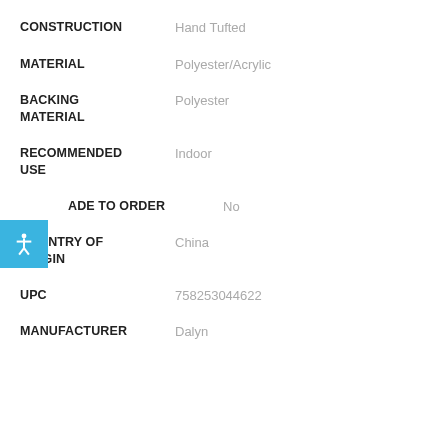| Attribute | Value |
| --- | --- |
| CONSTRUCTION | Hand Tufted |
| MATERIAL | Polyester/Acrylic |
| BACKING MATERIAL | Polyester |
| RECOMMENDED USE | Indoor |
| MADE TO ORDER | No |
| COUNTRY OF ORIGIN | China |
| UPC | 758253044622 |
| MANUFACTURER | Dalyn |